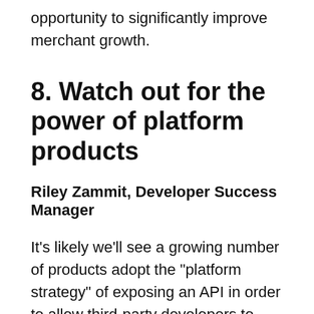opportunity to significantly improve merchant growth.
8. Watch out for the power of platform products
Riley Zammit, Developer Success Manager
It’s likely we’ll see a growing number of products adopt the “platform strategy” of exposing an API in order to allow third-party developers to extend their core product in 2021. It’s important to note that this is a different objective than providing an API for